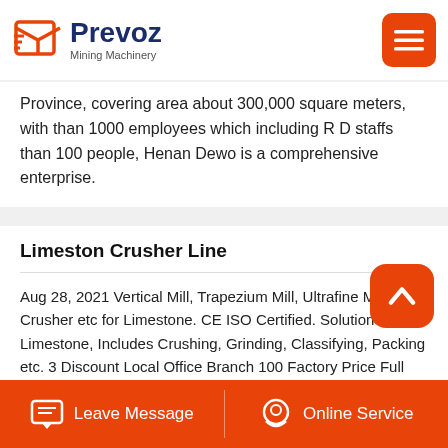Prevoz Mining Machinery
Province, covering area about 300,000 square meters, with than 1000 employees which including R D staffs than 100 people, Henan Dewo is a comprehensive enterprise.
Limeston Crusher Line
Aug 28, 2021 Vertical Mill, Trapezium Mill, Ultrafine Mill, Crusher etc for Limestone. CE ISO Certified. Solution For Limestone, Includes Crushing, Grinding, Classifying, Packing etc. 3 Discount Local Office Branch 100 Factory Price Full Tech Support Service catalog Product Training Support, Free Spare Parts Supply Popular Grinding Mills Focusing on customers' needs different models for choice!.
Leave Message   Online Service